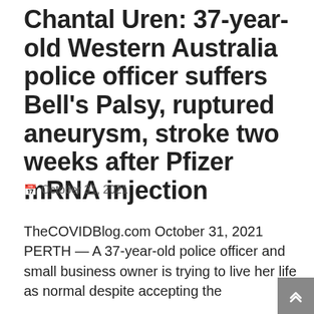Chantal Uren: 37-year-old Western Australia police officer suffers Bell's Palsy, ruptured aneurysm, stroke two weeks after Pfizer mRNA injection
October 31, 2021
TheCOVIDBlog.com October 31, 2021 PERTH — A 37-year-old police officer and small business owner is trying to live her life as normal despite accepting the